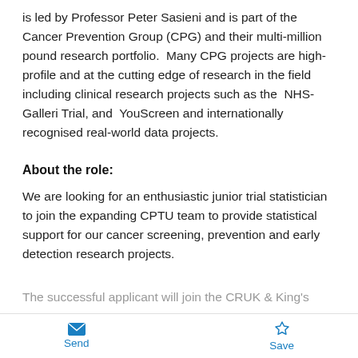is led by Professor Peter Sasieni and is part of the Cancer Prevention Group (CPG) and their multi-million pound research portfolio.  Many CPG projects are high-profile and at the cutting edge of research in the field including clinical research projects such as the  NHS-Galleri Trial, and  YouScreen and internationally recognised real-world data projects.
About the role:
We are looking for an enthusiastic junior trial statistician to join the expanding CPTU team to provide statistical support for our cancer screening, prevention and early detection research projects.
The successful applicant will join the CRUK & King's
Send  Save